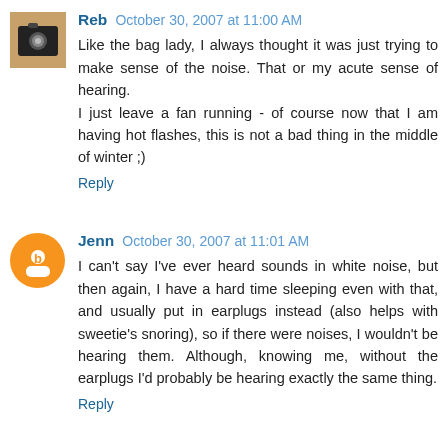Reb October 30, 2007 at 11:00 AM
Like the bag lady, I always thought it was just trying to make sense of the noise. That or my acute sense of hearing.
I just leave a fan running - of course now that I am having hot flashes, this is not a bad thing in the middle of winter ;)
Reply
Jenn October 30, 2007 at 11:01 AM
I can't say I've ever heard sounds in white noise, but then again, I have a hard time sleeping even with that, and usually put in earplugs instead (also helps with sweetie's snoring), so if there were noises, I wouldn't be hearing them. Although, knowing me, without the earplugs I'd probably be hearing exactly the same thing.
Reply
Leah J. Utas October 30, 2007 at 11:08 AM